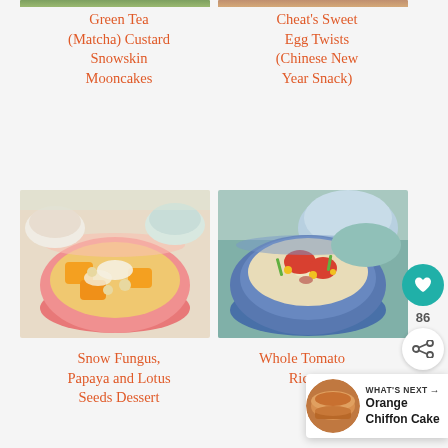[Figure (photo): Partial top of page — cropped food images at very top]
Green Tea (Matcha) Custard Snowskin Mooncakes
Cheat's Sweet Egg Twists (Chinese New Year Snack)
[Figure (photo): Bowl of snow fungus, papaya and lotus seeds dessert in a pink bowl]
[Figure (photo): Whole tomato fried rice in a blue and white bowl]
Snow Fungus, Papaya and Lotus Seeds Dessert
Whole Tomato Rice
[Figure (other): WHAT'S NEXT banner showing Orange Chiffon Cake with a circular cake image]